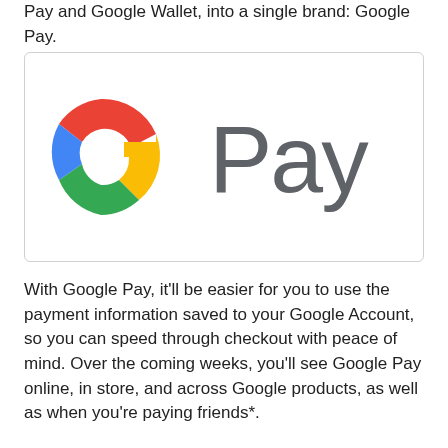Pay and Google Wallet, into a single brand: Google Pay.
[Figure (logo): Google Pay logo: the Google 'G' multicolor icon followed by the word 'Pay' in dark gray.]
With Google Pay, it'll be easier for you to use the payment information saved to your Google Account, so you can speed through checkout with peace of mind. Over the coming weeks, you'll see Google Pay online, in store, and across Google products, as well as when you're paying friends*.